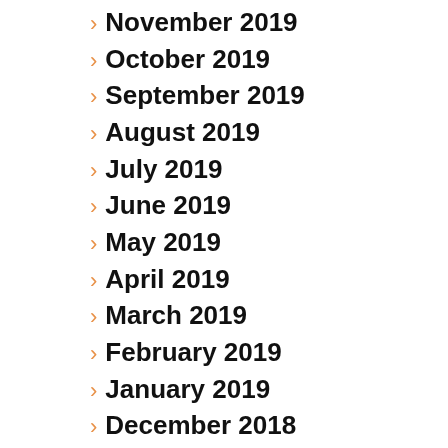> November 2019
> October 2019
> September 2019
> August 2019
> July 2019
> June 2019
> May 2019
> April 2019
> March 2019
> February 2019
> January 2019
> December 2018
> November 2018
> October 2018
> September 2018
> August 2018
> July 2018
> June 2018
> May 2018